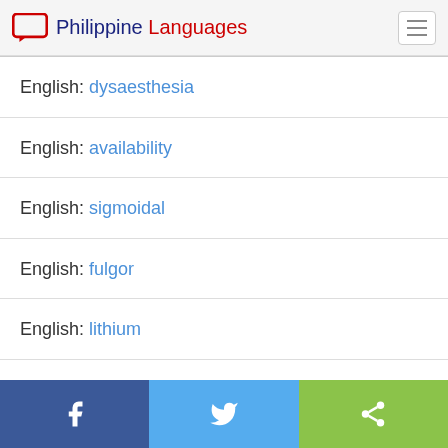Philippine Languages
English: dysaesthesia
English: availability
English: sigmoidal
English: fulgor
English: lithium
English: illision
Facebook | Twitter | Share